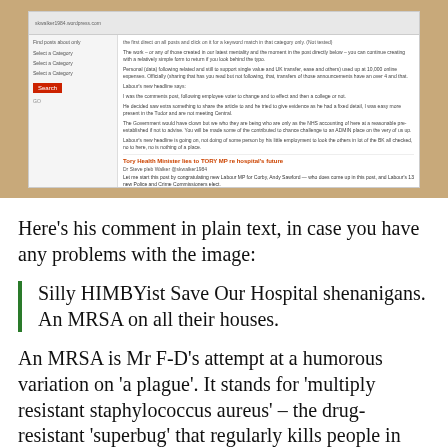[Figure (screenshot): Screenshot of a blog post titled 'Tory Health Minister lies to TORY MP re hospital's future' by Dr Steve pleb Walker @skwalker1984, with sidebar navigation and search button, showing introductory text congratulating new Labour MP for Corby, Andy Sawford]
Here's his comment in plain text, in case you have any problems with the image:
Silly HIMBYist Save Our Hospital shenanigans. An MRSA on all their houses.
An MRSA is Mr F-D's attempt at a humorous variation on 'a plague'. It stands for 'multiply resistant staphylococcus aureus' – the drug-resistant 'superbug' that regularly kills people in hospitals – especially if the private cleaning